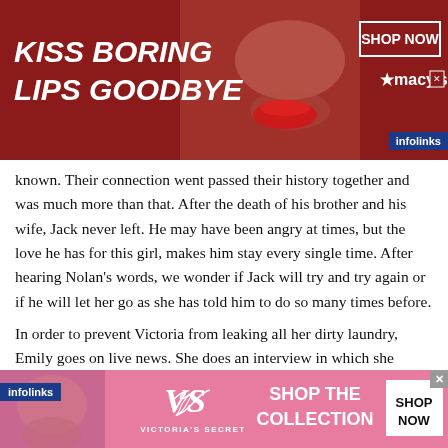[Figure (infographic): Top advertisement banner: dark red background with woman's face showing red lips, text 'KISS BORING LIPS GOODBYE', and Macy's 'SHOP NOW' button on the right]
known. Their connection went passed their history together and was much more than that. After the death of his brother and his wife, Jack never left. He may have been angry at times, but the love he has for this girl, makes him stay every single time. After hearing Nolan's words, we wonder if Jack will try and try again or if he will let her go as she has told him to do so many times before.
In order to prevent Victoria from leaking all her dirty laundry, Emily goes on live news. She does an interview in which she reveals the murder of Aidan. She speaks about Emily and all the
[Figure (infographic): Bottom advertisement banner: pink background with woman's face, Victoria's Secret logo and 'SHOP THE COLLECTION' text, and 'SHOP NOW' white button]